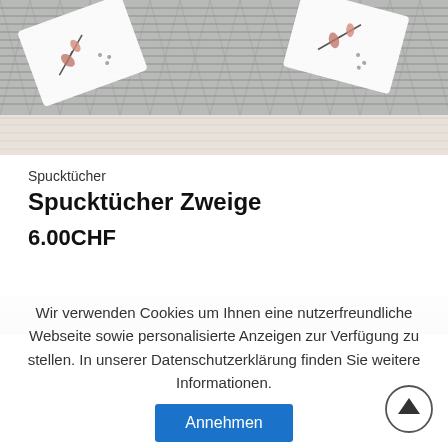[Figure (photo): Product photo showing decorative burp cloths (Spucktücher) with floral/branch motifs laid on a wicker surface with a light wood background at the bottom.]
Spucktücher
Spucktücher Zweige
6.00CHF
[Figure (photo): Top portion of a second product photo showing a green/natural surface (partially visible).]
Wir verwenden Cookies um Ihnen eine nutzerfreundliche Webseite sowie personalisierte Anzeigen zur Verfügung zu stellen. In unserer Datenschutzerklärung finden Sie weitere Informationen.
Annehmen